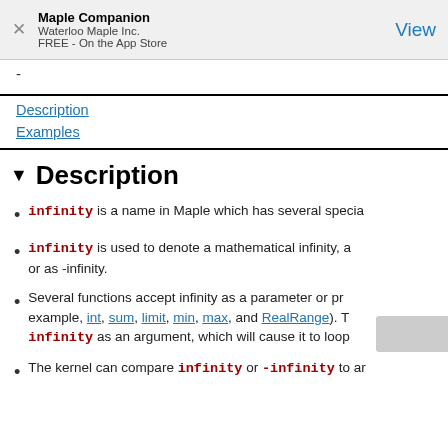Maple Companion
Waterloo Maple Inc.
FREE - On the App Store
View
-
Description
Examples
Description
infinity is a name in Maple which has several specia…
infinity is used to denote a mathematical infinity, a… or as -infinity.
Several functions accept infinity as a parameter or pr… example, int, sum, limit, min, max, and RealRange). T… infinity as an argument, which will cause it to loop …
The kernel can compare infinity or -infinity to ar…